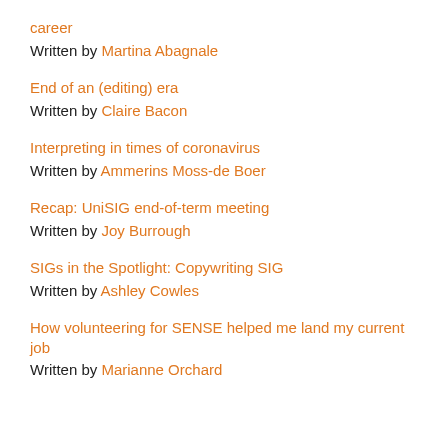career
Written by Martina Abagnale
End of an (editing) era
Written by Claire Bacon
Interpreting in times of coronavirus
Written by Ammerins Moss-de Boer
Recap: UniSIG end-of-term meeting
Written by Joy Burrough
SIGs in the Spotlight: Copywriting SIG
Written by Ashley Cowles
How volunteering for SENSE helped me land my current job
Written by Marianne Orchard